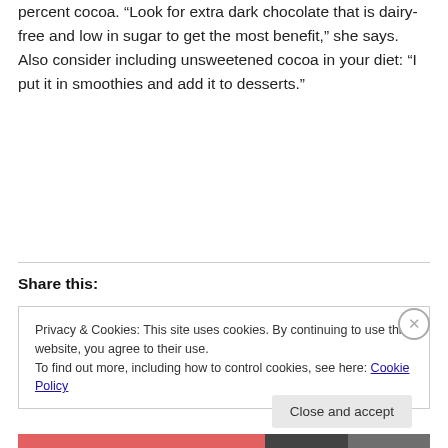percent cocoa. “Look for extra dark chocolate that is dairy-free and low in sugar to get the most benefit,” she says. Also consider including unsweetened cocoa in your diet: “I put it in smoothies and add it to desserts.”
Share this:
Privacy & Cookies: This site uses cookies. By continuing to use this website, you agree to their use.
To find out more, including how to control cookies, see here: Cookie Policy